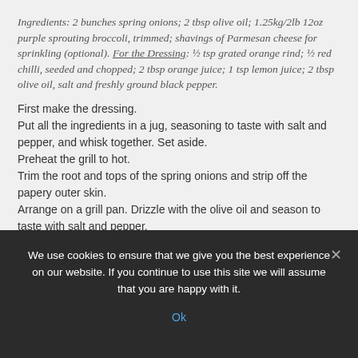Ingredients: 2 bunches spring onions; 2 tbsp olive oil; 1.25kg/2lb 12oz purple sprouting broccoli, trimmed; shavings of Parmesan cheese for sprinkling (optional). For the Dressing: ½ tsp grated orange rind; ½ red chilli, seeded and chopped; 2 tbsp orange juice; 1 tsp lemon juice; 2 tbsp olive oil, salt and freshly ground black pepper.
First make the dressing.
Put all the ingredients in a jug, seasoning to taste with salt and pepper, and whisk together. Set aside.
Preheat the grill to hot.
Trim the root and tops of the spring onions and strip off the papery outer skin.
Arrange on a grill pan. Drizzle with the olive oil and season to taste with salt and pepper.
Grill for 3–4 minutes on each side until tender.
Meanwhile, pour about 5cm/2in of water into a wide pan and bring to the boil. Add the broccoli and cook for about 5
We use cookies to ensure that we give you the best experience on our website. If you continue to use this site we will assume that you are happy with it.
Ok